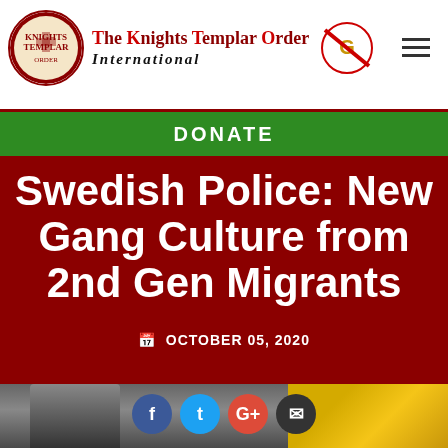The Knights Templar Order International
DONATE
Swedish Police: New Gang Culture from 2nd Gen Migrants
OCTOBER 05, 2020
[Figure (photo): Photo of a police officer in tactical gear standing next to a yellow police car, with social sharing buttons (Facebook, Twitter, Google+, Email) overlaid at the bottom]